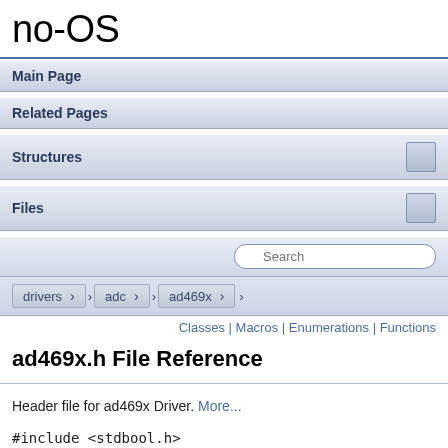no-OS
Main Page
Related Pages
Structures
Files
Search
drivers › adc › ad469x
Classes | Macros | Enumerations | Functions
ad469x.h File Reference
Header file for ad469x Driver. More...
#include <stdbool.h>
#include "spi_engine.h"